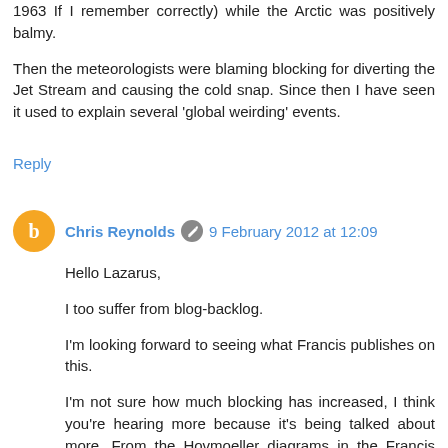1963 If I remember correctly) while the Arctic was positively balmy.
Then the meteorologists were blaming blocking for diverting the Jet Stream and causing the cold snap. Since then I have seen it used to explain several 'global weirding' events.
Reply
Chris Reynolds · 9 February 2012 at 12:09
Hello Lazarus,
I too suffer from blog-backlog.
I'm looking forward to seeing what Francis publishes on this.
I'm not sure how much blocking has increased, I think you're hearing more because it's being talked about more. From the Hovmoeller diagrams in the Francis slide shows